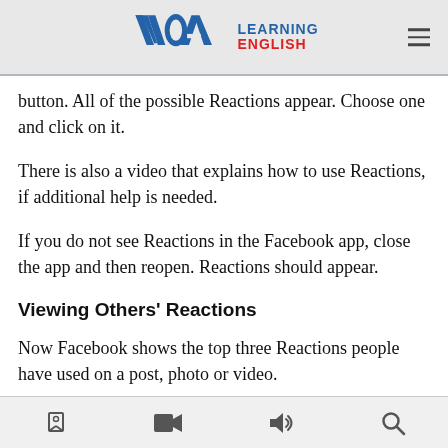VOA Learning English
button. All of the possible Reactions appear. Choose one and click on it.
There is also a video that explains how to use Reactions, if additional help is needed.
If you do not see Reactions in the Facebook app, close the app and then reopen. Reactions should appear.
Viewing Others' Reactions
Now Facebook shows the top three Reactions people have used on a post, photo or video.
navigation icons: bookmarks, video, audio, search